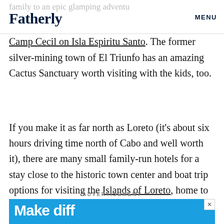Fatherly | MENU
Camp Cecil on Isla Espiritu Santo. The former silver-mining town of El Triunfo has an amazing Cactus Sanctuary worth visiting with the kids, too.
If you make it as far north as Loreto (it's about six hours driving time north of Cabo and well worth it), there are many small family-run hotels for a stay close to the historic town center and boat trip options for visiting the Islands of Loreto, home to sea lions and dolphins and, during the winter months, even migrating blue whales.
ADVERTISEMENT